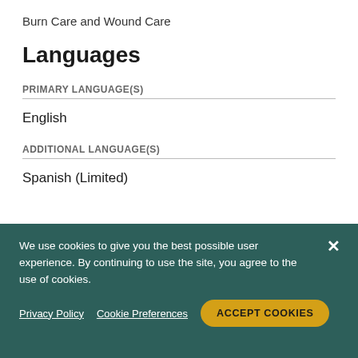Burn Care and Wound Care
Languages
PRIMARY LANGUAGE(S)
English
ADDITIONAL LANGUAGE(S)
Spanish (Limited)
We use cookies to give you the best possible user experience. By continuing to use the site, you agree to the use of cookies.
Privacy Policy
Cookie Preferences
ACCEPT COOKIES